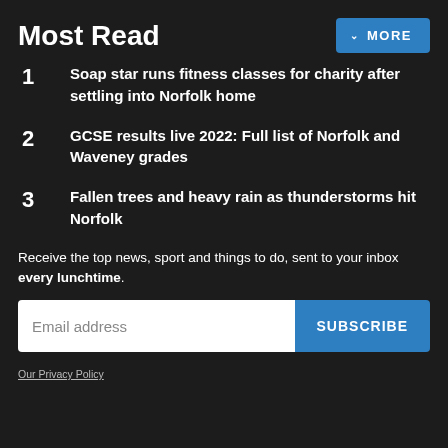Most Read
1  Soap star runs fitness classes for charity after settling into Norfolk home
2  GCSE results live 2022: Full list of Norfolk and Waveney grades
3  Fallen trees and heavy rain as thunderstorms hit Norfolk
Receive the top news, sport and things to do, sent to your inbox every lunchtime.
Email address
SUBSCRIBE
Our Privacy Policy